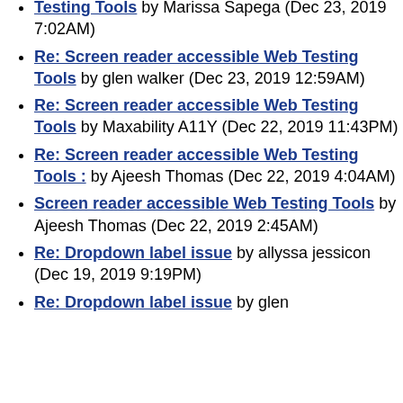Re: Screen reader accessible Web Testing Tools by Marissa Sapega (Dec 23, 2019 7:02AM)
Re: Screen reader accessible Web Testing Tools by glen walker (Dec 23, 2019 12:59AM)
Re: Screen reader accessible Web Testing Tools by Maxability A11Y (Dec 22, 2019 11:43PM)
Re: Screen reader accessible Web Testing Tools : by Ajeesh Thomas (Dec 22, 2019 4:04AM)
Screen reader accessible Web Testing Tools by Ajeesh Thomas (Dec 22, 2019 2:45AM)
Re: Dropdown label issue by allyssa jessicon (Dec 19, 2019 9:19PM)
Re: Dropdown label issue by glen